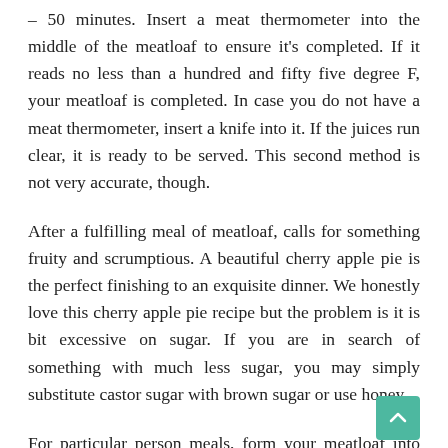– 50 minutes. Insert a meat thermometer into the middle of the meatloaf to ensure it's completed. If it reads no less than a hundred and fifty five degree F, your meatloaf is completed. In case you do not have a meat thermometer, insert a knife into it. If the juices run clear, it is ready to be served. This second method is not very accurate, though.
After a fulfilling meal of meatloaf, calls for something fruity and scrumptious. A beautiful cherry apple pie is the perfect finishing to an exquisite dinner. We honestly love this cherry apple pie recipe but the problem is it is bit excessive on sugar. If you are in search of something with much less sugar, you may simply substitute castor sugar with brown sugar or use honey.
For particular person meals, form your meatloaf into small muffin-sized balls and place them in a nonstick muffin tin. As soon as frozen stable, take away the mini meatloaves from the muffin pan and retailer them in a freezer bag for up to four months. Because sauces could separate when